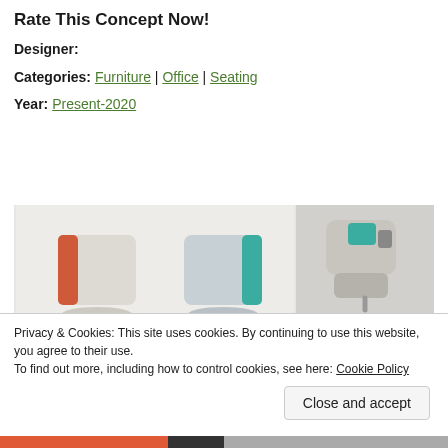Rate This Concept Now!
Designer:
Categories: Furniture | Office | Seating
Year: Present-2020
[Figure (photo): Product photo collage of modern office chairs/stools with colored accent panels (orange/red and teal), shown from front and top-down perspective]
Privacy & Cookies: This site uses cookies. By continuing to use this website, you agree to their use.
To find out more, including how to control cookies, see here: Cookie Policy
Close and accept